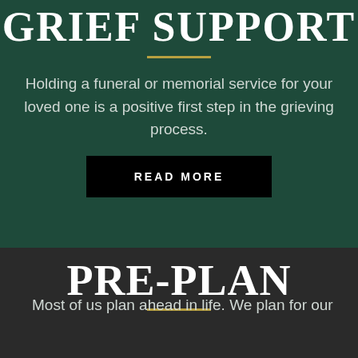GRIEF SUPPORT
Holding a funeral or memorial service for your loved one is a positive first step in the grieving process.
READ MORE
PRE-PLAN
Most of us plan ahead in life. We plan for our